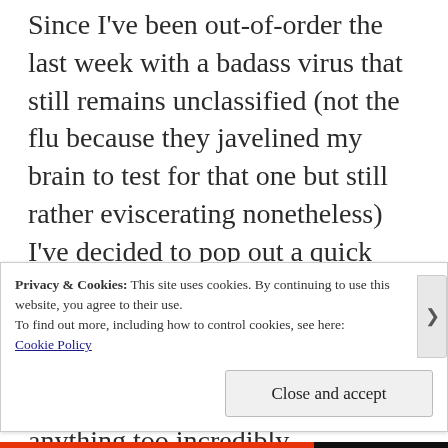Since I've been out-of-order the last week with a badass virus that still remains unclassified (not the flu because they javelined my brain to test for that one but still rather eviscerating nonetheless) I've decided to pop out a quick post to make sure everyone remembers I'm still alive and such. My mind is still recovering and I've had trouble thinking of anything too incredibly intellectual, so for what it's worth, here's a post about some websites I enjoy when I'm bored (and not working).
Privacy & Cookies: This site uses cookies. By continuing to use this website, you agree to their use.
To find out more, including how to control cookies, see here: Cookie Policy
Close and accept